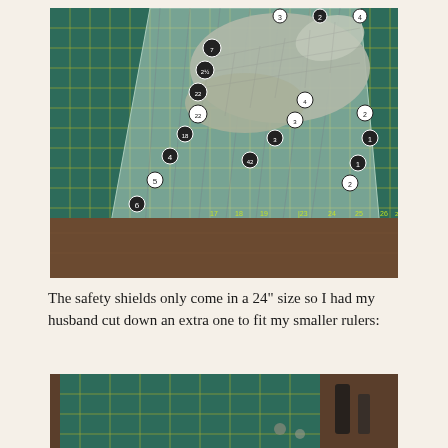[Figure (photo): A cutting mat on a wooden table with a metal mesh safety glove and a clear acrylic quilting ruler marked with numbered measurement markers (circles with numbers 1-6 along the edge and similar numbered markers across the ruler).]
The safety shields only come in a 24" size so I had my husband cut down an extra one to fit my smaller rulers:
[Figure (photo): Partial view of a green cutting mat with rulers on a wooden table surface, partially cropped at the bottom of the page.]